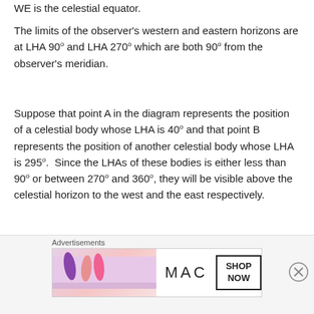WE is the celestial equator.
The limits of the observer's western and eastern horizons are at LHA 90° and LHA 270° which are both 90° from the observer's meridian.
Suppose that point A in the diagram represents the position of a celestial body whose LHA is 40° and that point B represents the position of another celestial body whose LHA is 295°. Since the LHAs of these bodies is either less than 90° or between 270° and 360°, they will be visible above the celestial horizon to the west and the east respectively.
Bodies whose LHAs are greater than 90° but less than
[Figure (other): MAC cosmetics advertisement banner showing lipsticks with SHOP NOW button]